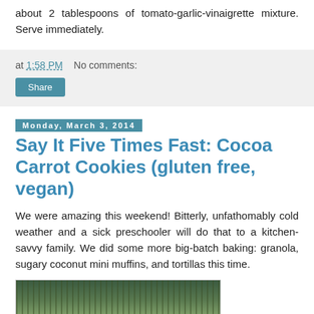about 2 tablespoons of tomato-garlic-vinaigrette mixture. Serve immediately.
at 1:58 PM   No comments:
Share
Monday, March 3, 2014
Say It Five Times Fast: Cocoa Carrot Cookies (gluten free, vegan)
We were amazing this weekend! Bitterly, unfathomably cold weather and a sick preschooler will do that to a kitchen-savvy family. We did some more big-batch baking: granola, sugary coconut mini muffins, and tortillas this time.
[Figure (photo): A photo showing food items in a container, with green leafy ingredients visible.]